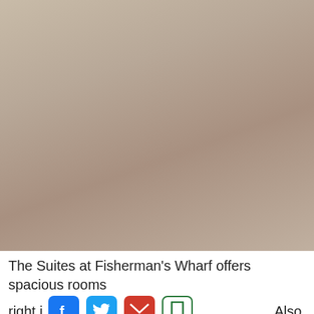[Figure (photo): A blurred, muted beige-taupe colored photo of a hotel room interior, taking up most of the page.]
The Suites at Fisherman's Wharf offers spacious rooms right i [social share icons] Also,